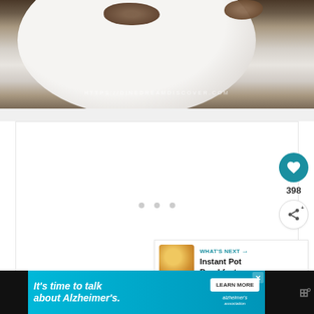[Figure (photo): A white plate with food (bread/toast with toppings) on a dark wooden table. Watermark text reads HTTPS://DINEDREAMDISCOVER.COM]
[Figure (screenshot): White content area with carousel dots and interactive buttons: a teal heart/like button showing 398 likes, a share button, and a What's Next panel showing Instant Pot Breakfast...]
398
WHAT'S NEXT → Instant Pot Breakfast...
[Figure (infographic): Advertisement banner: It's time to talk about Alzheimer's. LEARN MORE button. Alzheimer's Association logo. Close button. Right side shows a stylized W logo.]